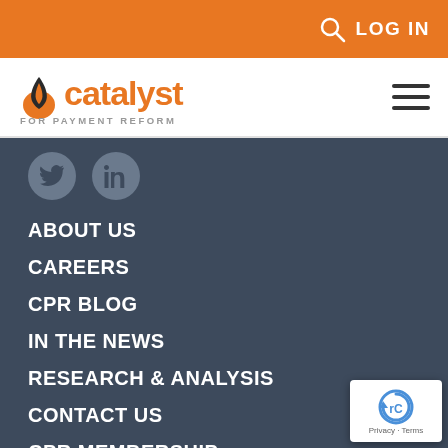LOG IN
[Figure (logo): Catalyst for Payment Reform logo - orange flame icon with 'catalyst' in orange text and 'FOR PAYMENT REFORM' subtitle in gray]
ABOUT US
CAREERS
CPR BLOG
IN THE NEWS
RESEARCH & ANALYSIS
CONTACT US
CPR MEMBERSHIP
[Figure (other): reCAPTCHA badge with Privacy and Terms links]